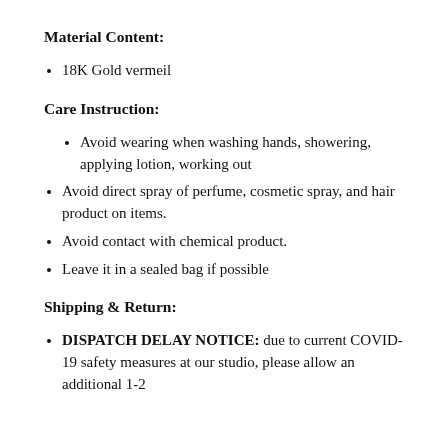Material Content:
18K Gold vermeil
Care Instruction:
Avoid wearing when washing hands, showering, applying lotion, working out
Avoid direct spray of perfume, cosmetic spray, and hair product on items.
Avoid contact with chemical product.
Leave it in a sealed bag if possible
Shipping & Return:
DISPATCH DELAY NOTICE: due to current COVID-19 safety measures at our studio, please allow an additional 1-2